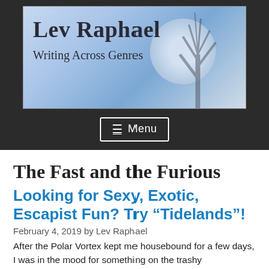[Figure (illustration): Blog header banner with 'Lev Raphael' in large serif text and 'Writing Across Genres' subtitle on a blue-grey background with a moon and tree silhouette]
Menu
The Fast and the Furious
Looking for Sexy, Exotic, Escapist Fun? Try “Tidelands”!
February 4, 2019 by Lev Raphael
After the Polar Vortex kept me housebound for a few days, I was in the mood for something on the trashy